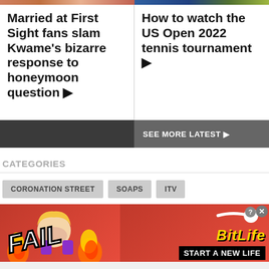[Figure (photo): Thumbnail image strip - left: Married at First Sight show thumbnail, right: tennis/US Open thumbnail]
Married at First Sight fans slam Kwame's bizarre response to honeymoon question ▶
How to watch the US Open 2022 tennis tournament ▶
SEE MORE LATEST ▶
CATEGORIES
CORONATION STREET
SOAPS
ITV
[Figure (photo): BitLife advertisement banner - FAIL text with anime character facepalm, fire animation, BitLife logo, START A NEW LIFE tagline on red background]